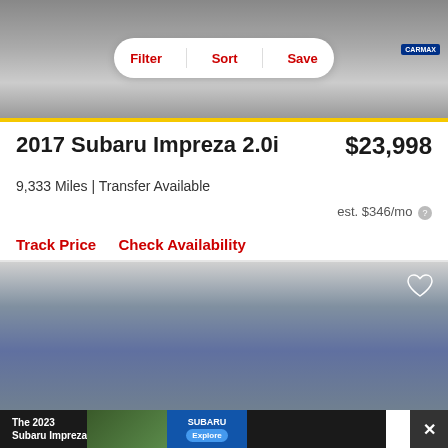[Figure (photo): Front view of a dark gray/black Subaru car on a light gray background, with Filter/Sort/Save toolbar overlay and CarMax logo]
2017 Subaru Impreza 2.0i
$23,998
9,333 Miles | Transfer Available
est. $346/mo
Track Price   Check Availability
[Figure (photo): Blue Subaru sedan on a light gray background with heart/favorite icon overlay]
[Figure (photo): Advertisement banner for The 2023 Subaru Impreza with car photo, Subaru logo and Explore button]